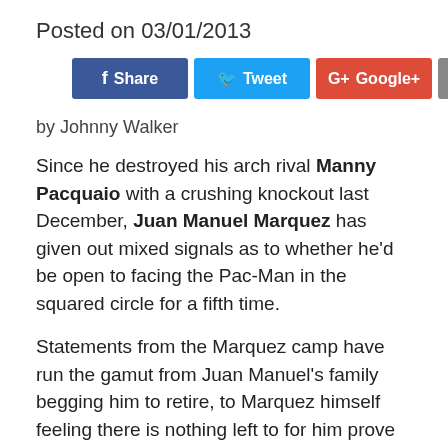Posted on 03/01/2013
[Figure (infographic): Social sharing buttons: Share (Facebook, blue), Tweet (Twitter, blue), Google+ (red), Email (grey)]
by Johnny Walker
Since he destroyed his arch rival Manny Pacquaio with a crushing knockout last December, Juan Manuel Marquez has given out mixed signals as to whether he'd be open to facing the Pac-Man in the squared circle for a fifth time.
Statements from the Marquez camp have run the gamut from Juan Manuel's family begging him to retire, to Marquez himself feeling there is nothing left to for him prove against the Pinoy hero, to an open-ended, never say never.
Now, a report on philstar.com says that Marquez is